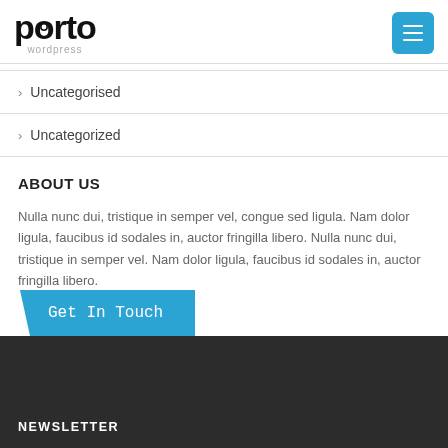porto wordpress
Uncategorised
Uncategorized
ABOUT US
Nulla nunc dui, tristique in semper vel, congue sed ligula. Nam dolor ligula, faucibus id sodales in, auctor fringilla libero. Nulla nunc dui, tristique in semper vel. Nam dolor ligula, faucibus id sodales in, auctor fringilla libero.
[Figure (other): Get In Touch button in blue with handwritten-style text]
NEWSLETTER